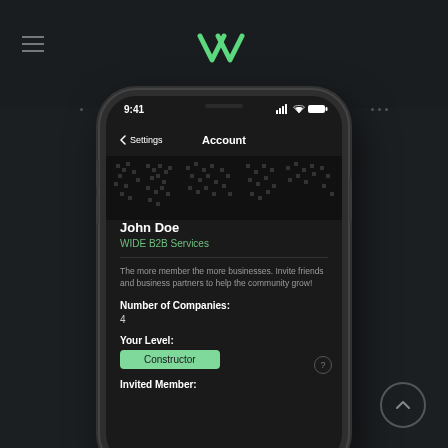[Figure (screenshot): Mobile app screenshot showing an Account settings page with user profile: John Doe, WIDE B2B Services. Shows Number of Companies: 4, Your Level: Constructor badge (green), and Invited Member section. Dark theme iOS-style interface with green chevron logo at top.]